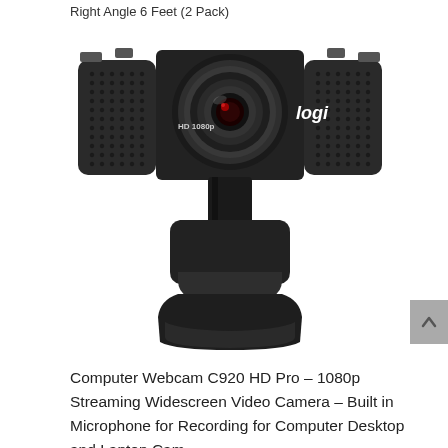Right Angle 6 Feet (2 Pack)
[Figure (photo): Logitech C920 HD Pro webcam front view, black color, showing lens with concentric circles, HD 1080p label on left side, logi branding on right side, with microphone grille panels on both sides, and adjustable clip/mount base below]
Computer Webcam C920 HD Pro – 1080p Streaming Widescreen Video Camera – Built in Microphone for Recording for Computer Desktop and Laptop Cam